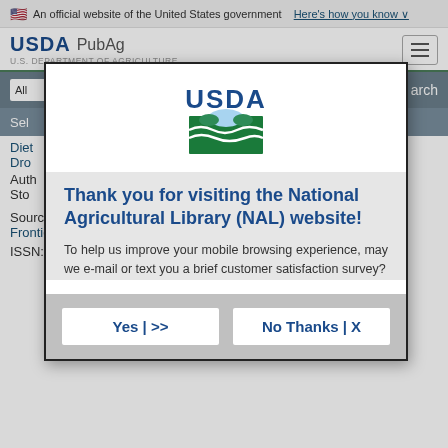An official website of the United States government Here's how you know
[Figure (logo): USDA PubAg logo with U.S. Department of Agriculture text and hamburger menu button]
[Figure (screenshot): Website search/navigation bar showing search field and 'arch' text]
Select
Diet
Dro
Auth
Sto
[Figure (other): Modal dialog with USDA logo, title 'Thank you for visiting the National Agricultural Library (NAL) website!', body text about mobile browsing survey, and Yes and No Thanks buttons]
Source:
Frontiers in ecology and evolution 2022 v.9 no. pp. 1-11
ISSN: